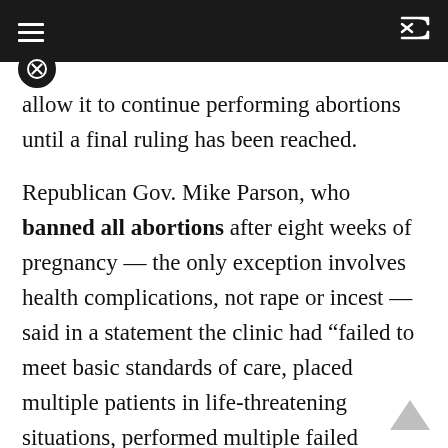[Navigation bar with hamburger menu and shuffle icon]
allow it to continue performing abortions until a final ruling has been reached.
Republican Gov. Mike Parson, who banned all abortions after eight weeks of pregnancy — the only exception involves health complications, not rape or incest — said in a statement the clinic had “failed to meet basic standards of care, placed multiple patients in life-threatening situations, performed multiple failed abortions where patients remained pregnant, and intentionally impeded the state’s